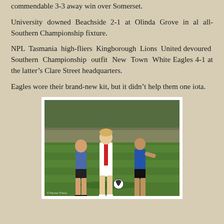commendable 3-3 away win over Somerset.
University downed Beachside 2-1 at Olinda Grove in al all-Southern Championship fixture.
NPL Tasmania high-fliers Kingborough Lions United devoured Southern Championship outfit New Town White Eagles 4-1 at the latter’s Clare Street headquarters.
Eagles wore their brand-new kit, but it didn’t help them one iota.
[Figure (photo): Soccer match photo showing three players on a green field. A player in a white and red kit dribbles the ball while two players in blue and black kits challenge. Sunny day, trees and fence in background. Watermark: Morior Press.]